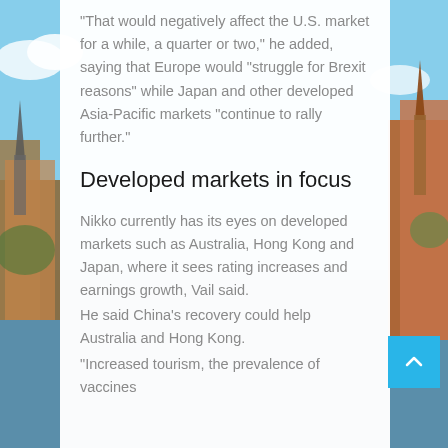[Figure (photo): Background photo of a European cityscape (likely Stockholm) with blue sky, red/orange buildings and a waterfront, visible on left and right sides of the page behind a white content panel.]
“That would negatively affect the U.S. market for a while, a quarter or two,” he added, saying that Europe would “struggle for Brexit reasons” while Japan and other developed Asia-Pacific markets “continue to rally further.”
Developed markets in focus
Nikko currently has its eyes on developed markets such as Australia, Hong Kong and Japan, where it sees rating increases and earnings growth, Vail said.
He said China’s recovery could help Australia and Hong Kong.
“Increased tourism, the prevalence of vaccines